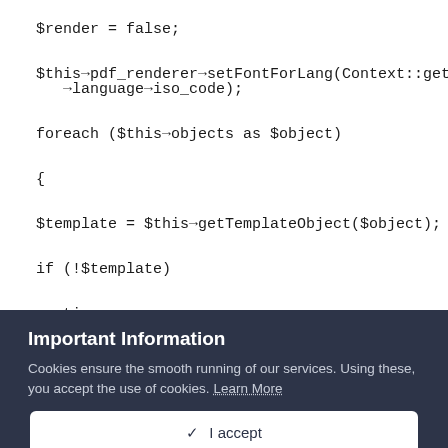$render = false;
$this->pdf_renderer->setFontForLang(Context::getContext()->language->iso_code);
foreach ($this->objects as $object)
{
$template = $this->getTemplateObject($object);
if (!$template)
continue;
Important Information
Cookies ensure the smooth running of our services. Using these, you accept the use of cookies. Learn More
✓  I accept